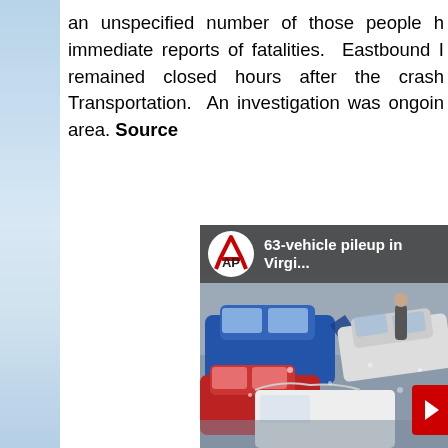an unspecified number of those people h... immediate reports of fatalities. Eastbound I... remained closed hours after the crash... Transportation. An investigation was ongoing... area. Source
[Figure (screenshot): AP video thumbnail showing a 63-vehicle pileup in Virginia. The image shows multiple crashed cars including a blue car, red car, and white cars piled together. An AP logo and text '63-vehicle pileup in Virgi...' appear in a dark banner at the top.]